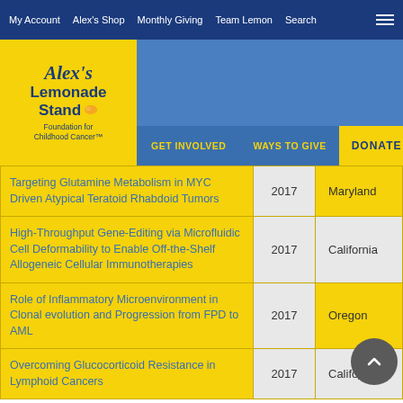My Account | Alex's Shop | Monthly Giving | Team Lemon | Search
[Figure (logo): Alex's Lemonade Stand Foundation for Childhood Cancer logo with yellow background]
| Project Title | Year | State |
| --- | --- | --- |
| Targeting Glutamine Metabolism in MYC Driven Atypical Teratoid Rhabdoid Tumors | 2017 | Maryland |
| High-Throughput Gene-Editing via Microfluidic Cell Deformability to Enable Off-the-Shelf Allogeneic Cellular Immunotherapies | 2017 | California |
| Role of Inflammatory Microenvironment in Clonal evolution and Progression from FPD to AML | 2017 | Oregon |
| Overcoming Glucocorticoid Resistance in Lymphoid Cancers | 2017 | California |